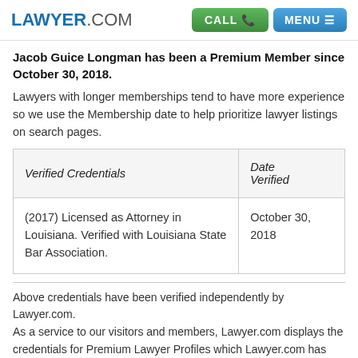LAWYER.COM | CALL | MENU
Jacob Guice Longman has been a Premium Member since October 30, 2018.
Lawyers with longer memberships tend to have more experience so we use the Membership date to help prioritize lawyer listings on search pages.
| Verified Credentials | Date Verified |
| --- | --- |
| (2017) Licensed as Attorney in Louisiana. Verified with Louisiana State Bar Association. | October 30, 2018 |
Above credentials have been verified independently by Lawyer.com.
As a service to our visitors and members, Lawyer.com displays the credentials for Premium Lawyer Profiles which Lawyer.com has independently verified. These are displayed at the at the 'Verified Credentials' table. Lawyer.com independently verifies these credentials when a lawyer signs up for a Premium Lawyer Profile. Each Premium Profile has a re-verification that is re-confirmed on a regular basis.